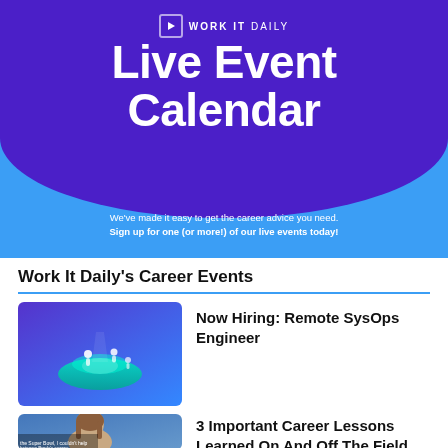[Figure (illustration): Work It Daily banner with purple dome shape on blue background, showing 'Live Event Calendar' title and logo]
Work It Daily's Career Events
[Figure (illustration): Illustrated image of small figures on a glowing geometric platform with purple and teal colors]
Now Hiring: Remote SysOps Engineer
[Figure (photo): Photo of a woman with brown hair, related to Super Bowl career lessons article]
3 Important Career Lessons Learned On And Off The Field